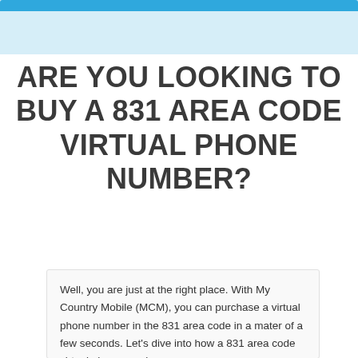ARE YOU LOOKING TO BUY A 831 AREA CODE VIRTUAL PHONE NUMBER?
Well, you are just at the right place. With My Country Mobile (MCM), you can purchase a virtual phone number in the 831 area code in a mater of a few seconds. Let's dive into how a 831 area code virtual phone number